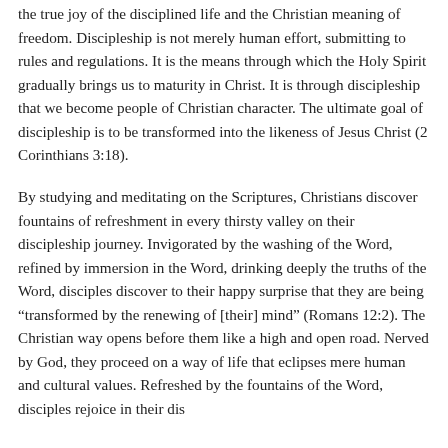the true joy of the disciplined life and the Christian meaning of freedom. Discipleship is not merely human effort, submitting to rules and regulations. It is the means through which the Holy Spirit gradually brings us to maturity in Christ. It is through discipleship that we become people of Christian character. The ultimate goal of discipleship is to be transformed into the likeness of Jesus Christ (2 Corinthians 3:18).
By studying and meditating on the Scriptures, Christians discover fountains of refreshment in every thirsty valley on their discipleship journey. Invigorated by the washing of the Word, refined by immersion in the Word, drinking deeply the truths of the Word, disciples discover to their happy surprise that they are being “transformed by the renewing of [their] mind” (Romans 12:2). The Christian way opens before them like a high and open road. Nerved by God, they proceed on a way of life that eclipses mere human and cultural values. Refreshed by the fountains of the Word, disciples rejoice in their dis...